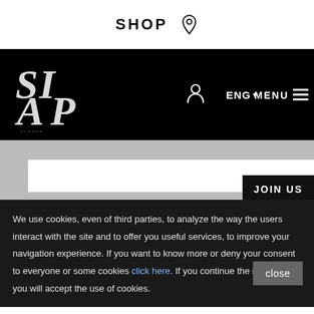SHOP
[Figure (screenshot): Website navigation bar with SIAP Carpet Couture Italia logo, user icon, ENG language selector, and MENU button on black background]
JOIN US
We use cookies, even of third parties, to analyze the way the users interact with the site and to offer you useful services, to improve your navigation experience. If you want to know more or deny your consent to everyone or some cookies click here. If you continue the navigation, you will accept the use of cookies.